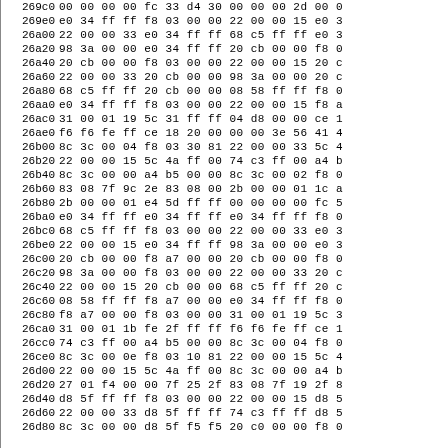| Address | Hex Data |
| --- | --- |
| 269c0 | 00 00 00 00 fc 33 d4 30 00 00 00 2d 00 0 |
| 269e0 | e0 34 ff ff f8 03 00 00 22 00 00 15 e0 3 |
| 26a00 | 22 00 00 33 e0 34 ff ff 68 c5 ff ff e0 3 |
| 26a20 | 98 3a 00 00 e0 34 ff ff 20 cb 00 00 f8 0 |
| 26a40 | 20 cb 00 00 f8 03 00 00 22 00 00 15 20 c |
| 26a60 | 22 00 00 33 20 cb 00 00 98 3a 00 00 20 c |
| 26a80 | 68 c5 ff ff 20 cb 00 00 08 58 ff ff f8 0 |
| 26aa0 | e0 34 ff ff f8 03 00 00 22 00 00 15 f8 a |
| 26ac0 | 31 00 01 19 5c 31 ff ff 04 d8 00 00 ce 1 |
| 26ae0 | f6 f6 fe ff ce 18 20 00 00 00 3e 56 41 4 |
| 26b00 | 8c 3c 00 04 f8 03 30 81 22 00 00 33 5c 4 |
| 26b20 | 22 00 00 15 5c 4a ff 00 74 c3 ff 00 a4 b |
| 26b40 | 8c 3c 00 00 a4 b5 00 00 8c 3c 00 02 f8 0 |
| 26b60 | 83 08 7f 9c 2e 83 08 00 2b 00 00 01 1c a |
| 26b80 | 2b 00 00 01 e4 5d ff ff 00 00 00 00 fc 5 |
| 26ba0 | e0 34 ff ff e0 34 ff ff e0 34 ff ff f8 0 |
| 26bc0 | 68 c5 ff ff f8 03 00 00 22 00 00 33 e0 3 |
| 26be0 | 22 00 00 15 e0 34 ff ff 98 3a 00 00 e0 3 |
| 26c00 | 20 cb 00 00 f8 a7 00 00 20 cb 00 00 f8 0 |
| 26c20 | 98 3a 00 00 f8 03 00 00 22 00 00 33 20 c |
| 26c40 | 22 00 00 15 20 cb 00 00 68 c5 ff ff 20 c |
| 26c60 | 08 58 ff ff f8 a7 00 00 e0 34 ff ff f8 0 |
| 26c80 | f8 a7 00 00 f8 03 00 00 31 00 01 19 5c 3 |
| 26ca0 | 31 00 01 1b fe 2f ff ff f6 f6 fe ff ce 1 |
| 26cc0 | 74 c3 ff 00 a4 b5 00 00 8c 3c 00 04 f8 0 |
| 26ce0 | 8c 3c 00 0e f8 03 10 81 22 00 00 15 5c 4 |
| 26d00 | 22 00 00 15 5c 4a ff 00 8c 3c 00 00 a4 b |
| 26d20 | 27 01 f4 00 00 7f 25 2f 83 08 7f 19 2f 8 |
| 26d40 | d8 5f ff ff f8 03 00 00 22 00 00 15 d8 5 |
| 26d60 | 22 00 00 33 d8 5f ff ff 74 c3 ff ff d8 5 |
| 26d80 | 8c 3c 00 00 d8 5f f5 f5 20 c0 00 00 f8 0 |